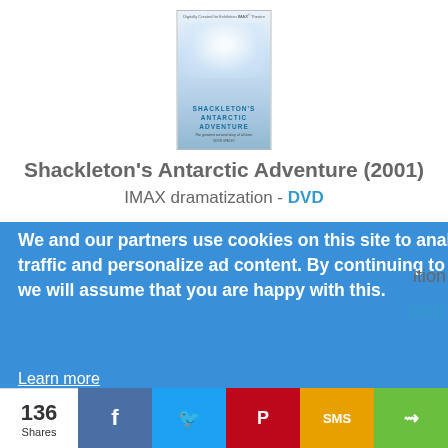[Figure (photo): DVD cover of Shackleton's Antarctic Adventure (2001) IMAX film, showing a faded face and blue text title]
Shackleton's Antarctic Adventure (2001)
IMAX dramatization - DVD
We and our partners use cookies on this site to analyze our traffic and personalize ad content. By continuing to use this site we will assume that you are happy with this.
Learn more
Got it!
136 Shares